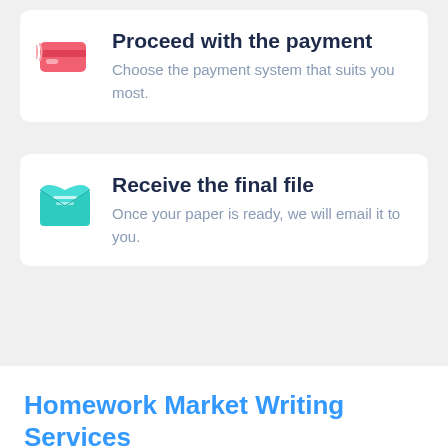Proceed with the payment
Choose the payment system that suits you most.
Receive the final file
Once your paper is ready, we will email it to you.
Homework Market Writing Services
No need to work on essay at night. Sleep tight, we will cover